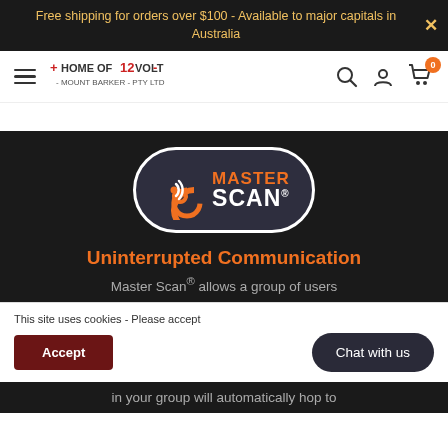Free shipping for orders over $100 - Available to major capitals in Australia
[Figure (logo): Home of 12 Volt Mount Barker Pty Ltd logo with hamburger menu, search, account, and cart icons]
[Figure (logo): Master Scan® brand logo badge — orange and white text on dark rounded rectangle with concentric arc signal icon]
Uninterrupted Communication
Master Scan® allows a group of users
This site uses cookies - Please accept
in your group will automatically hop to